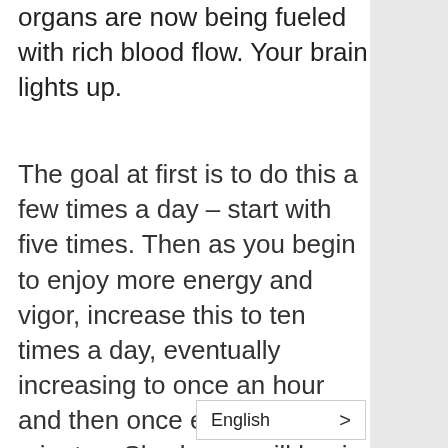organs are now being fueled with rich blood flow. Your brain lights up.
The goal at first is to do this a few times a day – start with five times. Then as you begin to enjoy more energy and vigor, increase this to ten times a day, eventually increasing to once an hour and then once every 15 minutes. Slowly you will begin to recognize this calmer and more relaxed state as your natural state. You will feel more creative. You may even find that with more of your brain at work, solutions to what you once thought were unsolvable problems now come easily and effortlessly.
English >